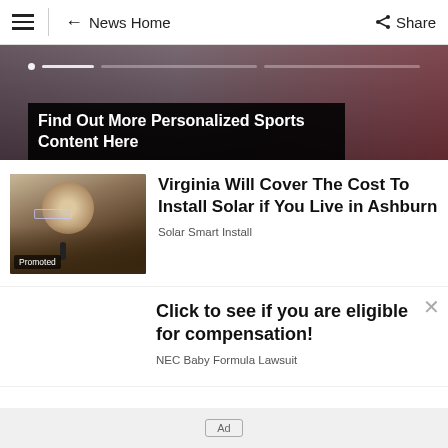← News Home   Share
[Figure (photo): Sports crowd banner with text overlay: Find Out More Personalized Sports Content Here]
Find Out More Personalized Sports Content Here
[Figure (photo): Photo of a woman with glasses speaking at a podium, labeled Promoted]
Virginia Will Cover The Cost To Install Solar if You Live in Ashburn
Solar Smart Install
Click to see if you are eligible for compensation!
NEC Baby Formula Lawsuit
Ad